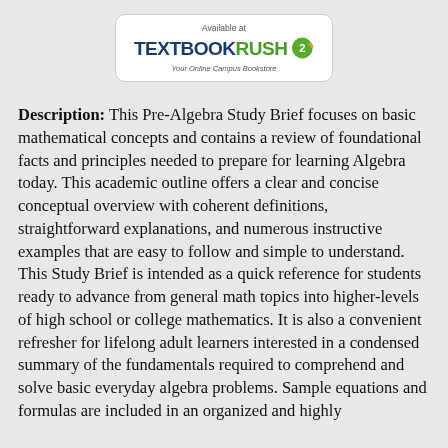[Figure (logo): TextbookRush logo — Available at TextbookRush Your Online Campus Bookstore, white rounded rectangle with blue and green branding and mascot]
Description: This Pre-Algebra Study Brief focuses on basic mathematical concepts and contains a review of foundational facts and principles needed to prepare for learning Algebra today. This academic outline offers a clear and concise conceptual overview with coherent definitions, straightforward explanations, and numerous instructive examples that are easy to follow and simple to understand. This Study Brief is intended as a quick reference for students ready to advance from general math topics into higher-levels of high school or college mathematics. It is also a convenient refresher for lifelong adult learners interested in a condensed summary of the fundamentals required to comprehend and solve basic everyday algebra problems. Sample equations and formulas are included in an organized and highly